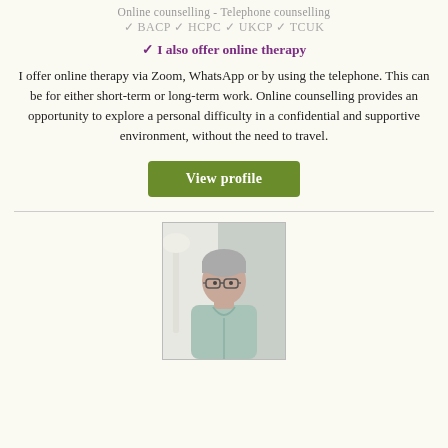Online counselling - Telephone counselling
✓ BACP ✓ HCPC ✓ UKCP ✓ TCUK
✓ I also offer online therapy
I offer online therapy via Zoom, WhatsApp or by using the telephone. This can be for either short-term or long-term work. Online counselling provides an opportunity to explore a personal difficulty in a confidential and supportive environment, without the need to travel.
View profile
[Figure (photo): Portrait photo of a woman with short grey hair wearing glasses and a light blue short-sleeve top, seated in what appears to be a counselling office setting.]